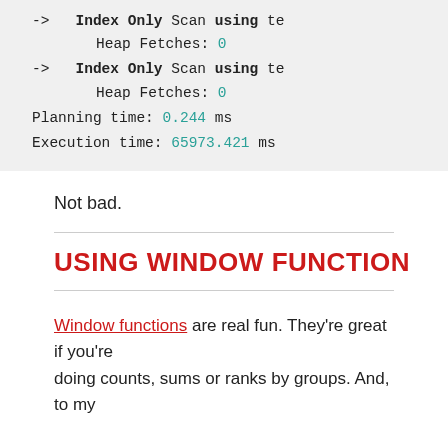[Figure (screenshot): Code block showing database query plan output with Index Only Scans, Heap Fetches: 0, Planning time: 0.244 ms, Execution time: 65973.421 ms]
Not bad.
USING WINDOW FUNCTION
Window functions are real fun. They're great if you're doing counts, sums or ranks by groups. And, to my